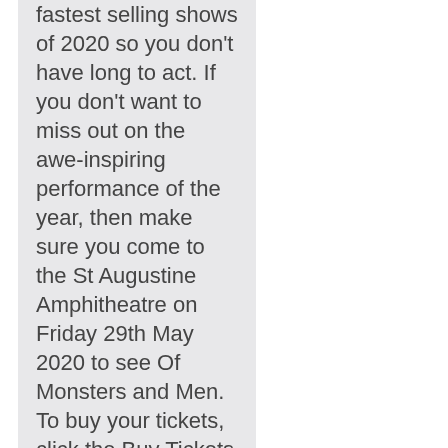fastest selling shows of 2020 so you don't have long to act. If you don't want to miss out on the awe-inspiring performance of the year, then make sure you come to the St Augustine Amphitheatre on Friday 29th May 2020 to see Of Monsters and Men. To buy your tickets, click the Buy Tickets button today!
It's no news for many people that St Augustine Amphitheatre is among the finest venues when it comes to country music in St. Augustine, Florida. The venue never takes a break to invite